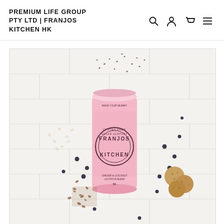PREMIUM LIFE GROUP PTY LTD | FRANJOS KITCHEN HK
[Figure (photo): Product photo of a pink cylindrical tin labeled 'FRANJOS KITCHEN' (Gluten Free, Sugar Support) surrounded by scattered ingredients including chia seeds, sesame, flaxseed, blueberries, and small round cookies/balls on a white brick background.]